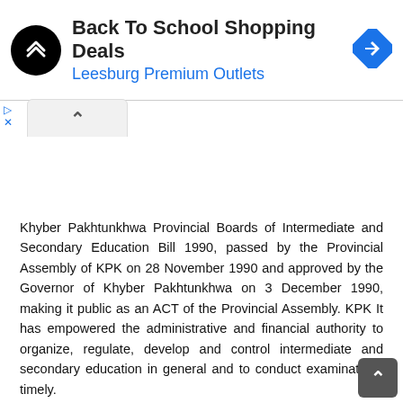[Figure (screenshot): Advertisement banner: Back To School Shopping Deals at Leesburg Premium Outlets, with logo icon and navigation arrow icon]
Khyber Pakhtunkhwa Provincial Boards of Intermediate and Secondary Education Bill 1990, passed by the Provincial Assembly of KPK on 28 November 1990 and approved by the Governor of Khyber Pakhtunkhwa on 3 December 1990, making it public as an ACT of the Provincial Assembly. KPK It has empowered the administrative and financial authority to organize, regulate, develop and control intermediate and secondary education in general and to conduct examinations timely.